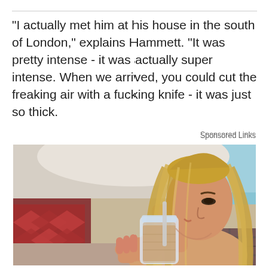"I actually met him at his house in the south of London," explains Hammett. "It was pretty intense - it was actually super intense. When we arrived, you could cut the freaking air with a fucking knife - it was just so thick.
Sponsored Links
[Figure (photo): Young woman with long blonde hair drinking from a mason jar with a straw, sitting in a casual indoor setting with colorful cushions and blurred background.]